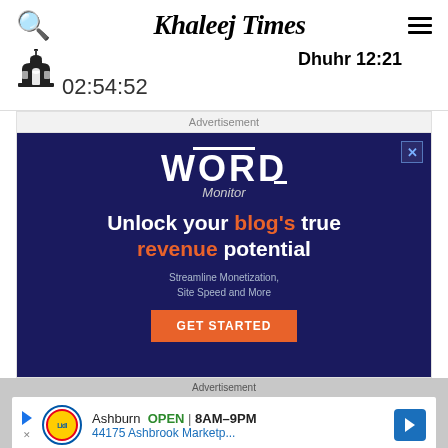Khaleej Times
Dhuhr 12:21
02:54:52
Advertisement
[Figure (screenshot): Word Monitor advertisement on dark navy background: 'Unlock your blog's true revenue potential. Streamline Monetization, Site Speed and More. GET STARTED']
Advertisement
[Figure (screenshot): Lidl store ad: Ashburn OPEN 8AM-9PM, 44175 Ashbrook Marketp...]